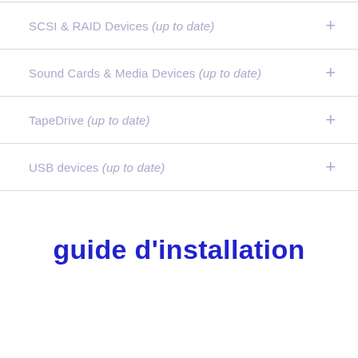SCSI & RAID Devices (up to date)
Sound Cards & Media Devices (up to date)
TapeDrive (up to date)
USB devices (up to date)
guide d'installation